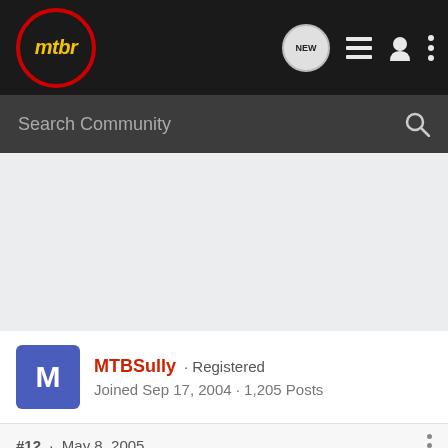mtbr - Search Community - NEW icon, list icon, user icon, more icon
Search Community
[Figure (screenshot): Gray content/ad placeholder area]
MTBSully · Registered
Joined Sep 17, 2004 · 1,205 Posts
#12 · May 8, 2005
[Figure (screenshot): Cabela's HIGHEST-RATED GEAR advertisement banner with 4.9 star rating and video play button]
RobV
I've go